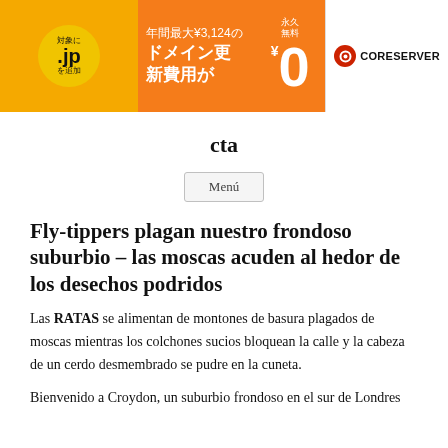[Figure (other): Orange and white advertisement banner for CORESERVER web hosting featuring .jp domain promotion in Japanese. Orange background with yellow circle showing '.jp', text '年間最大¥3,124の ドメイン更新費用が' and '永久無料 ¥0'. CORESERVER logo on white right side.]
cta
Menú
Fly-tippers plagan nuestro frondoso suburbio – las moscas acuden al hedor de los desechos podridos
Las RATAS se alimentan de montones de basura plagados de moscas mientras los colchones sucios bloquean la calle y la cabeza de un cerdo desmembrado se pudre en la cuneta.
Bienvenido a Croydon, un suburbio frondoso en el sur de Londres